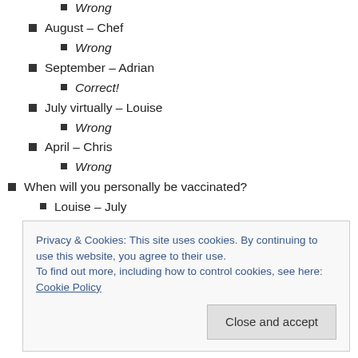Wrong
August – Chef
Wrong
September – Adrian
Correct!
July virtually – Louise
Wrong
April – Chris
Wrong
When will you personally be vaccinated?
Louise – July
Privacy & Cookies: This site uses cookies. By continuing to use this website, you agree to their use.
To find out more, including how to control cookies, see here: Cookie Policy
David – May